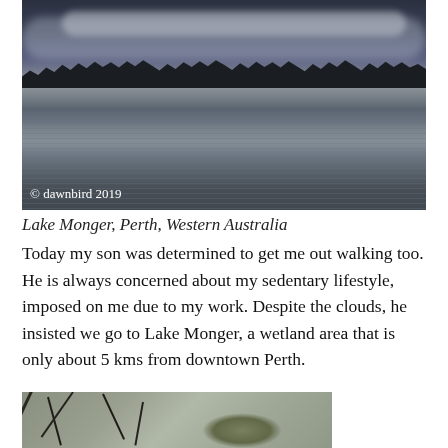[Figure (photo): A wide photograph of Lake Monger, Perth, Western Australia. The lake has calm reflective water with a dark, stormy overcast sky. A treeline is visible on the far shore. A white cloud band stretches across the upper portion. The copyright text '© dawnbird 2019' appears in the lower left of the photo.]
Lake Monger, Perth, Western Australia
Today my son was determined to get me out walking too.  He is always concerned about my sedentary lifestyle, imposed on me due to my work.  Despite the clouds, he insisted we go to Lake Monger, a wetland area that is only about 5 kms from downtown Perth.
[Figure (photo): A partial photograph showing dark bare tree branches against a grey-green background with some foliage visible. The image is cropped at the bottom of the page.]